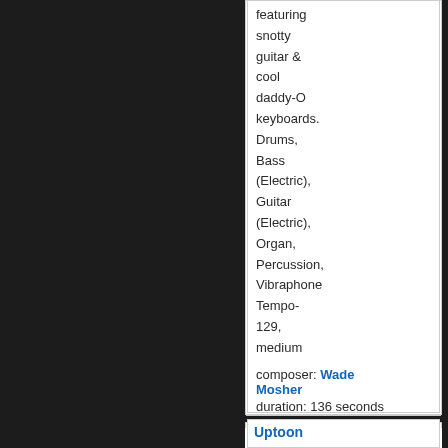featuring snotty guitar & cool daddy-O keyboards. Drums, Bass (Electric), Guitar (Electric), Organ, Percussion, Vibraphone Tempo-129, medium
composer: Wade Mosher
duration: 136 seconds
Uptoon Fretish
Price: $49.95
full length track
A very
[Figure (other): Play button icon — a circular button with a triangle play symbol, light pink/red ring border]